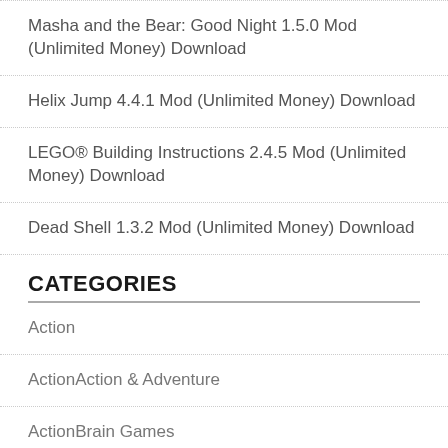Masha and the Bear: Good Night 1.5.0 Mod (Unlimited Money) Download
Helix Jump 4.4.1 Mod (Unlimited Money) Download
LEGO® Building Instructions 2.4.5 Mod (Unlimited Money) Download
Dead Shell 1.3.2 Mod (Unlimited Money) Download
CATEGORIES
Action
ActionAction & Adventure
ActionBrain Games